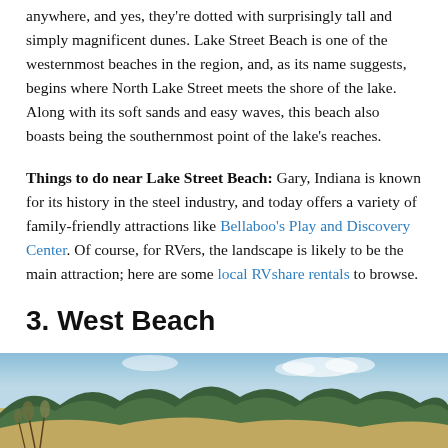anywhere, and yes, they're dotted with surprisingly tall and simply magnificent dunes. Lake Street Beach is one of the westernmost beaches in the region, and, as its name suggests, begins where North Lake Street meets the shore of the lake. Along with its soft sands and easy waves, this beach also boasts being the southernmost point of the lake's reaches.
Things to do near Lake Street Beach: Gary, Indiana is known for its history in the steel industry, and today offers a variety of family-friendly attractions like Bellaboo's Play and Discovery Center. Of course, for RVers, the landscape is likely to be the main attraction; here are some local RVshare rentals to browse.
3. West Beach
[Figure (photo): Outdoor landscape photo showing sandy dunes with sparse vegetation in the foreground, a dense line of green trees in the middle ground, and a blue sky above.]